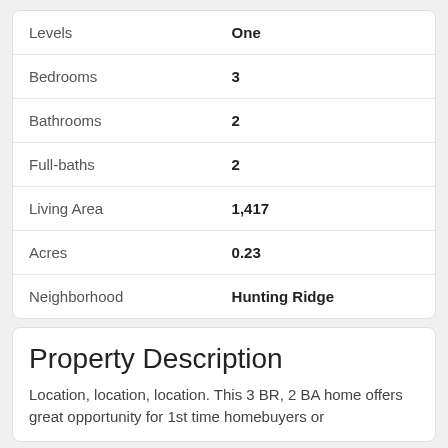| Field | Value |
| --- | --- |
| Levels | One |
| Bedrooms | 3 |
| Bathrooms | 2 |
| Full-baths | 2 |
| Living Area | 1,417 |
| Acres | 0.23 |
| Neighborhood | Hunting Ridge |
Property Description
Location, location, location. This 3 BR, 2 BA home offers great opportunity for 1st time homebuyers or